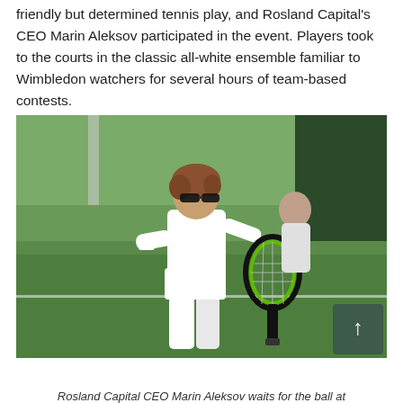friendly but determined tennis play, and Rosland Capital's CEO Marin Aleksov participated in the event. Players took to the courts in the classic all-white ensemble familiar to Wimbledon watchers for several hours of team-based contests.
[Figure (photo): Rosland Capital CEO Marin Aleksov on a grass tennis court wearing all-white tennis outfit and sunglasses, holding a green and black tennis racket in ready position, with another player visible in the background. A dark green scroll-to-top button overlay appears in the bottom right corner of the image.]
Rosland Capital CEO Marin Aleksov waits for the ball at